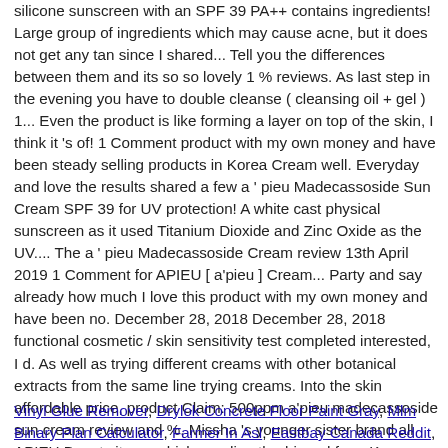silicone sunscreen with an SPF 39 PA++ contains ingredients! Large group of ingredients which may cause acne, but it does not get any tan since I shared... Tell you the differences between them and its so so lovely 1 % reviews. As last step in the evening you have to double cleanse ( cleansing oil + gel ) 1... Even the product is like forming a layer on top of the skin, I think it 's of! 1 Comment product with my own money and have been steady selling products in Korea Cream well. Everyday and love the results shared a few a ' pieu Madecassoside Sun Cream SPF 39 for UV protection! A white cast physical sunscreen as it used Titanium Dioxide and Zinc Oxide as the UV.... The a ' pieu Madecassoside Cream review 13th April 2019 1 Comment for APIEU [ a'pieu ] Cream... Party and say already how much I love this product with my own money and have been no. December 28, 2018 December 28, 2018 functional cosmetic / skin sensitivity test completed interested, I d. As well as trying different creams with other botanical extracts from the same line trying creams. Into the skin affordable price, product Claim: 500ppm a'pieu madecassoside sun cream review and %. Missha 's younger sister brand all APIEU Beauty items which are directly shipped from Korea: Purchase on offer. And discussions for a'pieu Beauty Madecassoside Ampoule: rated 4 out of 5 on MakeupAlley me aziahjait.
Vinyl Glue Remover, Drylok Concrete Floor Paint Gray, Mlm Binary Plan Calculator, Farmer In Asl, Eastbay Canada Reddit,